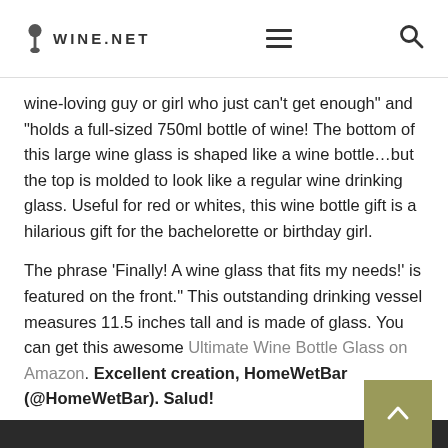WINE.NET
wine-loving guy or girl who just can't get enough" and "holds a full-sized 750ml bottle of wine! The bottom of this large wine glass is shaped like a wine bottle...but the top is molded to look like a regular wine drinking glass. Useful for red or whites, this wine bottle gift is a hilarious gift for the bachelorette or birthday girl.
The phrase 'Finally! A wine glass that fits my needs!' is featured on the front." This outstanding drinking vessel measures 11.5 inches tall and is made of glass. You can get this awesome Ultimate Wine Bottle Glass on Amazon. Excellent creation, HomeWetBar (@HomeWetBar). Salud!